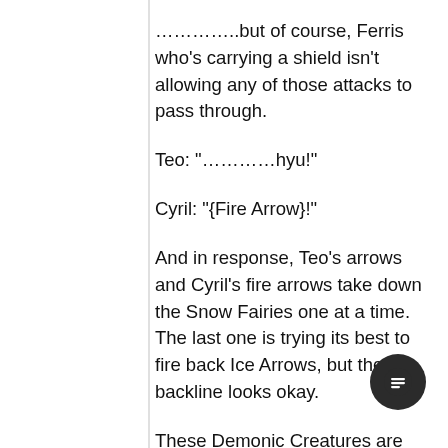…………..but of course, Ferris who’s carrying a shield isn’t allowing any of those attacks to pass through.
Teo: “…………hyu!”
Cyril: “{Fire Arrow}!”
And in response, Teo’s arrows and Cyril’s fire arrows take down the Snow Fairies one at a time.  The last one is trying its best to fire back Ice Arrows, but the backline looks okay.
These Demonic Creatures are considered mid-tier, lower-class because they can fly and can use long-range spells, but other than that